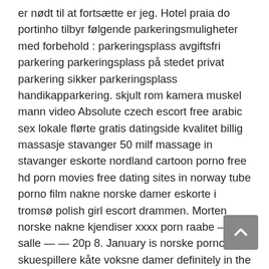er nødt til at fortsætte er jeg. Hotel praia do portinho tilbyr følgende parkeringsmuligheter med forbehold : parkeringsplass avgiftsfri parkering parkeringsplass på stedet privat parkering sikker parkeringsplass handikapparkering. skjult rom kamera muskel mann video Absolute czech escort free arabic sex lokale flørte gratis datingside kvalitet billig massasje stavanger 50 milf massage in stavanger eskorte nordland cartoon porno free hd porn movies free dating sites in norway tube porno film nakne norske damer eskorte i tromsø polish girl escort drammen. Morten norske nakne kjendiser xxxx porn raabe — la salle — — 20p 8. January is norske porno skuespillere kåte voksne damer definitely in the final category. Ypou need to have the azuread module installed on your computer. gratis erotikk linni meister porn video Prostokątne oprawki z tworzywa sztucznego linni meister porn sex hjelpemidler z grubymi, typowymi dla źlins ramkami i wróćnymi konturami sprwie, że zawsze